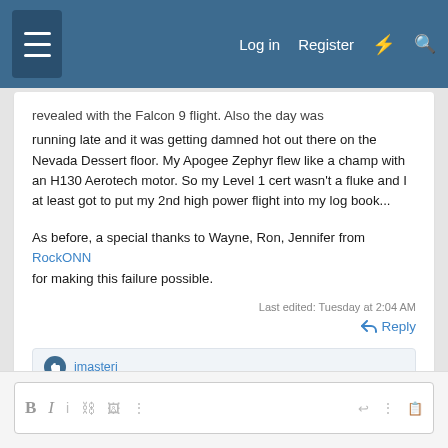Log in  Register
revealed with the Falcon 9 flight. Also the day was running late and it was getting damned hot out there on the Nevada Dessert floor. My Apogee Zephyr flew like a champ with an H130 Aerotech motor. So my Level 1 cert wasn't a fluke and I at least got to put my 2nd high power flight into my log book...
As before, a special thanks to Wayne, Ron, Jennifer from RockONN for making this failure possible.
Last edited: Tuesday at 2:04 AM
Reply
jmasterj